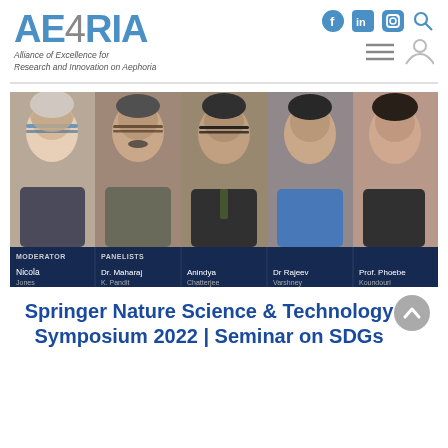[Figure (logo): AE4RIA logo - Alliance of Excellence for Research and Innovation on Aephoria]
[Figure (infographic): Social media icons: Facebook, LinkedIn, Instagram, Search, hamburger menu, and person icon]
[Figure (photo): Panel photo strip showing 5 people: Moderator Nicola Jones and Panelists Dr. Maharaj K. Pandit, Anindya Chatterjee, Dr Rajeev Varshney, Prof. Phoebe Koundouri]
Springer Nature Science & Technology Symposium 2022 | Seminar on SDGs